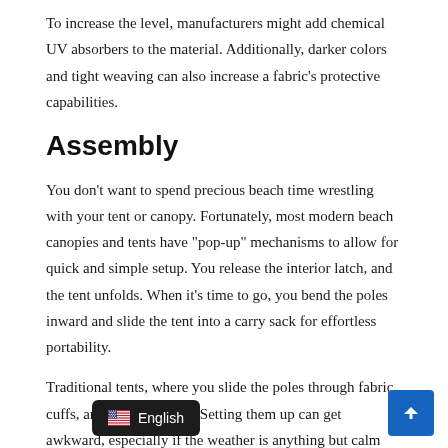To increase the level, manufacturers might add chemical UV absorbers to the material. Additionally, darker colors and tight weaving can also increase a fabric’s protective capabilities.
Assembly
You don’t want to spend precious beach time wrestling with your tent or canopy. Fortunately, most modern beach canopies and tents have “pop-up” mechanisms to allow for quick and simple setup. You release the interior latch, and the tent unfolds. When it’s time to go, you bend the poles inward and slide the tent into a carry sack for effortless portability.
Traditional tents, where you slide the poles through fabric cuffs, are another option. Setting them up can get awkward, especially if the weather is anything but calm and peaceful. While they’re a little harder to find than the pop-up type, they’re still a workable op… With…arts, some people consider them a more dur…